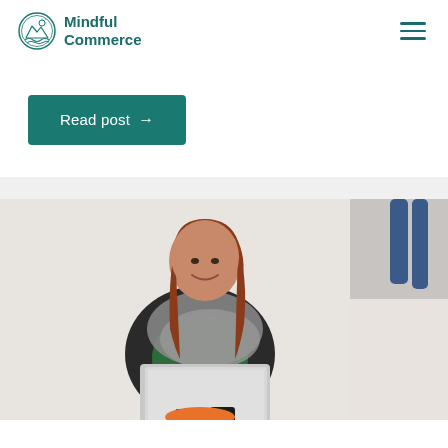[Figure (logo): Mindful Commerce logo with circular mountain/wave emblem and teal text]
[Figure (other): Hamburger menu icon (three horizontal lines) in teal]
Read post →
[Figure (photo): Smiling red-haired woman sitting on an orange stool, using a laptop, wearing a grey scarf and green top. White/light background. Orange circular edit/pen button overlay in top-right corner.]